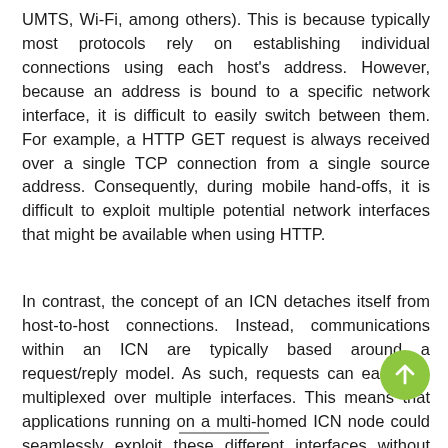UMTS, Wi-Fi, among others). This is because typically most protocols rely on establishing individual connections using each host's address. However, because an address is bound to a specific network interface, it is difficult to easily switch between them. For example, a HTTP GET request is always received over a single TCP connection from a single source address. Consequently, during mobile hand-offs, it is difficult to exploit multiple potential network interfaces that might be available when using HTTP.
In contrast, the concept of an ICN detaches itself from host-to-host connections. Instead, communications within an ICN are typically based around a request/reply model. As such, requests can easily be multiplexed over multiple interfaces. This means that applications running on a multi-homed ICN node could seamlessly exploit these different interfaces without needing to understand which interface has actually been used.
———